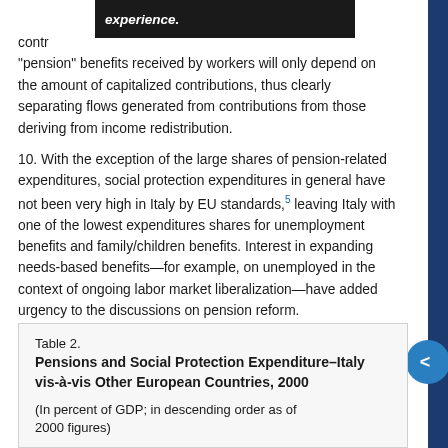experience.
"pension" benefits received by workers will only depend on the amount of capitalized contributions, thus clearly separating flows generated from contributions from those deriving from income redistribution.
10. With the exception of the large shares of pension-related expenditures, social protection expenditures in general have not been very high in Italy by EU standards,5 leaving Italy with one of the lowest expenditures shares for unemployment benefits and family/children benefits. Interest in expanding needs-based benefits—for example, on unemployed in the context of ongoing labor market liberalization—have added urgency to the discussions on pension reform.
Table 2.
Pensions and Social Protection Expenditure–Italy vis-à-vis Other European Countries, 2000
(In percent of GDP; in descending order as of 2000 figures)